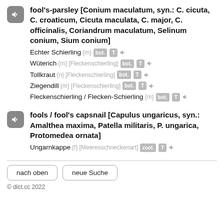fool's-parsley [Conium maculatum, syn.: C. cicuta, C. croaticum, Cicuta maculata, C. major, C. officinalis, Coriandrum maculatum, Selinum conium, Sium conium]
Echter Schierling {m} bot. T
Wüterich {m} [Fleckenschierling] bot. T
Tollkraut {n} [Fleckenschierling] bot. T
Ziegendill {m} [Fleckenschierling] bot. T
Fleckenschierling / Flecken-Schierling {m} bot. T
fools / fool's capsnail [Capulus ungaricus, syn.: Amalthea maxima, Patella militaris, P. ungarica, Protomedea ornata]
Ungarnkappe {f} [Meeresschneckenart] zool. T
nach oben
neue Suche
© dict.cc 2022